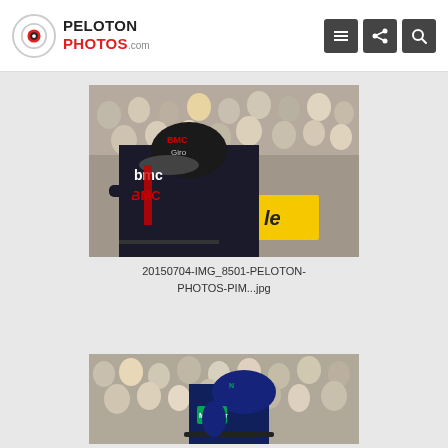PelotonPhotos.com
[Figure (photo): A BMC cycling team rider in aerodynamic position wearing a Giro helmet and BMC kit during what appears to be a Tour de France time trial, with crowd spectators in the background and a yellow Tour de France banner visible.]
20150704-IMG_8501-PELOTON-PHOTOS-PIM...jpg
[Figure (photo): A Movistar cycling team rider in navy blue kit and Movistar helmet, bent over handlebars, with a large crowd of spectators in the background in bright sunlight.]